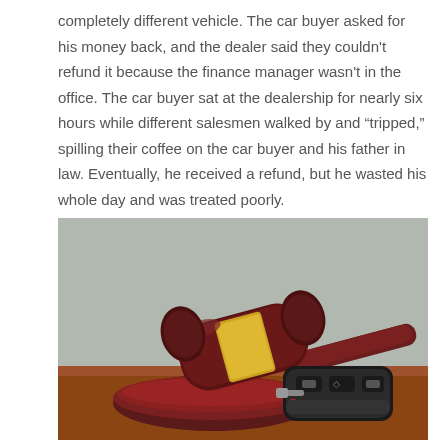completely different vehicle. The car buyer asked for his money back, and the dealer said they couldn't refund it because the finance manager wasn't in the office. The car buyer sat at the dealership for nearly six hours while different salesmen walked by and "tripped," spilling their coffee on the car buyer and his father in law. Eventually, he received a refund, but he wasted his whole day and was treated poorly.
[Figure (photo): A wooden judge's gavel with a gold band resting on a sound block, with a car key fob placed beside it on a wooden surface, against a gray background.]